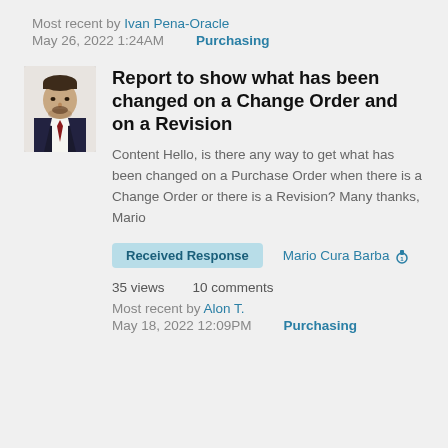Most recent by Ivan Pena-Oracle
May 26, 2022 1:24AM    Purchasing
Report to show what has been changed on a Change Order and on a Revision
Content Hello, is there any way to get what has been changed on a Purchase Order when there is a Change Order or there is a Revision? Many thanks, Mario
Received Response    Mario Cura Barba
35 views    10 comments
Most recent by Alon T.
May 18, 2022 12:09PM    Purchasing